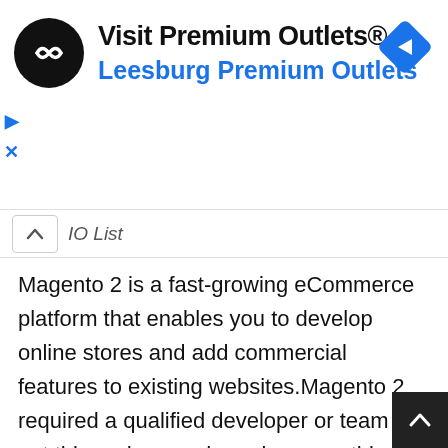[Figure (screenshot): Advertisement banner for 'Visit Premium Outlets® Leesburg Premium Outlets' with a circular black logo with double-arrow symbol, blue navigation diamond icon on the right, and play/close controls on the left.]
IO List
Magento 2 is a fast-growing eCommerce platform that enables you to develop online stores and add commercial features to existing websites.Magento 2 required a qualified developer or team to get things done and running smoothly. On the off chance that you don't have the abilities, involvement, or the time to do the coding at that point it's great to enlist an independent Magento 2 developer. When you are selecting a Magento 2 developer, you need to be clear about a few things like Goal and Objective, Budget, Timeline, and Skillset, etc. Magento 2 freelancers are specialized